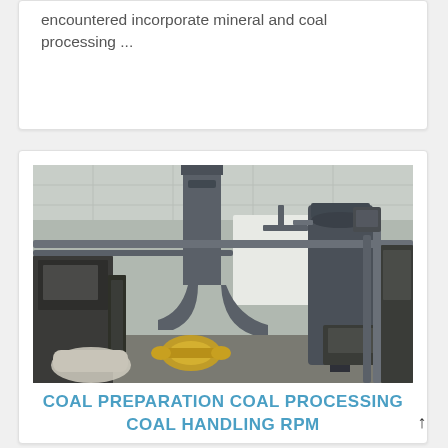encountered incorporate mineral and coal processing ...
[Figure (photo): Industrial coal processing facility interior showing large pipes, ducts, cyclone separators, conveyor equipment and machinery inside a warehouse-style building.]
COAL PREPARATION COAL PROCESSING COAL HANDLING RPM